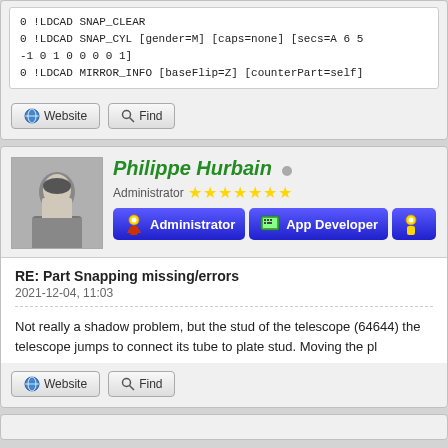[Figure (screenshot): Code snippet showing LDCAD snap/mirror commands in monospace font]
0 !LDCAD SNAP_CLEAR
0 !LDCAD SNAP_CYL [gender=M] [caps=none] [secs=A 6 5
-1 0 1 0 0 0 0 1]
0 !LDCAD MIRROR_INFO [baseFlip=Z] [counterPart=self]
[Figure (screenshot): Website and Find buttons]
Website   Find
Philippe Hurbain
Administrator ★★★★★★★
Administrator   App Developer
RE: Part Snapping missing/errors
2021-12-04, 11:03
Not really a shadow problem, but the stud of the telescope (64644) the telescope jumps to connect its tube to plate stud. Moving the pl
Website   Find